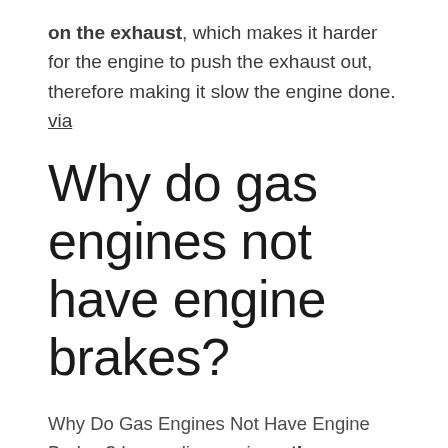on the exhaust, which makes it harder for the engine to push the exhaust out, therefore making it slow the engine done. via
Why do gas engines not have engine brakes?
Why Do Gas Engines Not Have Engine Brakes? In gasoline engines, the restriction causes a strong manifold vacuum, which the cylinders must work against over time,